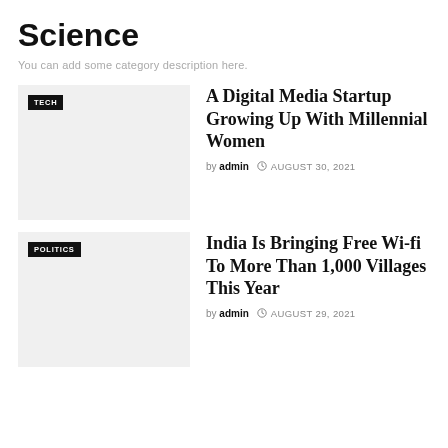Science
You can add some category description here.
[Figure (photo): Thumbnail image placeholder with TECH tag label]
A Digital Media Startup Growing Up With Millennial Women
by admin  AUGUST 30, 2021
[Figure (photo): Thumbnail image placeholder with POLITICS tag label]
India Is Bringing Free Wi-fi To More Than 1,000 Villages This Year
by admin  AUGUST 29, 2021